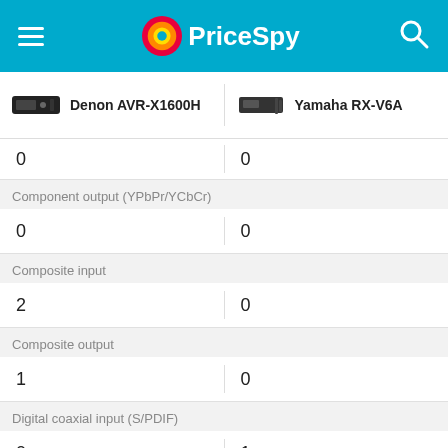PriceSpy
|  | Denon AVR-X1600H | Yamaha RX-V6A |
| --- | --- | --- |
| Component output (YPbPr/YCbCr) | 0 | 0 |
| Composite input | 2 | 0 |
| Composite output | 1 | 0 |
| Digital coaxial input (S/PDIF) | 0 | 1 |
| Digital coaxial output (S/PDIF) |  |  |